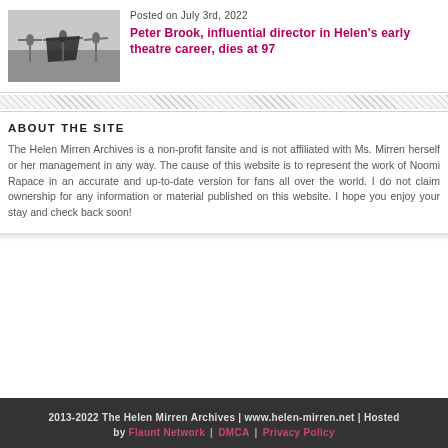[Figure (photo): Black and white photo of people outdoors, figures with arms spread wide, appears to be a theatre/performance scene.]
Posted on July 3rd, 2022
Peter Brook, influential director in Helen's early theatre career, dies at 97
ABOUT THE SITE
The Helen Mirren Archives is a non-profit fansite and is not affiliated with Ms. Mirren herself or her management in any way. The cause of this website is to represent the work of Noomi Rapace in an accurate and up-to-date version for fans all over the world. I do not claim ownership for any information or material published on this website. I hope you enjoy your stay and check back soon!
2013-2022 The Helen Mirren Archives | www.helen-mirren.net | Hosted by Flaunt Network | DMCA | Privacy Policy